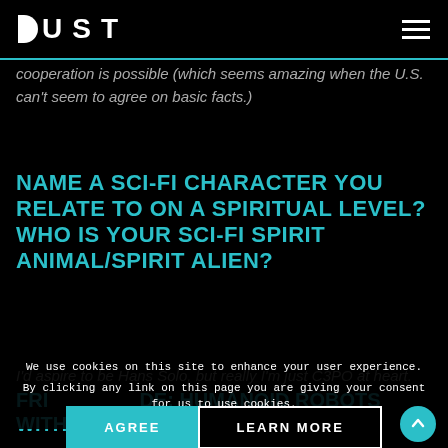DUST
cooperation is possible (which seems amazing when the U.S. can't seem to agree on basic facts.)
NAME A SCI-FI CHARACTER YOU RELATE TO ON A SPIRITUAL LEVEL? WHO IS YOUR SCI-FI SPIRIT ANIMAL/SPIRIT ALIEN?
I'd aspire to be Hans Solo, but really I'm just C3PO at heart.
We use cookies on this site to enhance your user experience. By clicking any link on this page you are giving your consent for us to use cookies.
AGREE
LEARN MORE
FRI... DE: HUMANOID ROBOTS WITH ADVANCED